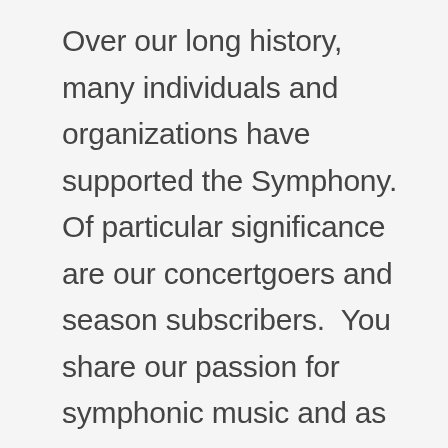Over our long history, many individuals and organizations have supported the Symphony.  Of particular significance are our concertgoers and season subscribers.  You share our passion for symphonic music and as such, you are the heart of our work and the cornerstone of our support.  We send heartfelt thanks to all of the many volunteers, former board members, and donors who have served our organization and community.  Your